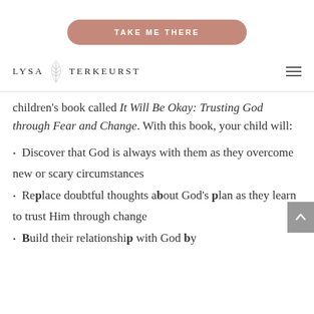[Figure (other): Button with rounded corners, muted rose/mauve color, text reading TAKE ME THERE in white uppercase with letter-spacing]
LYSA TERKEURST
children's book called It Will Be Okay: Trusting God through Fear and Change. With this book, your child will:
Discover that God is always with them as they overcome new or scary circumstances
Replace doubtful thoughts about God's plan as they learn to trust Him through change
Build their relationship with God by